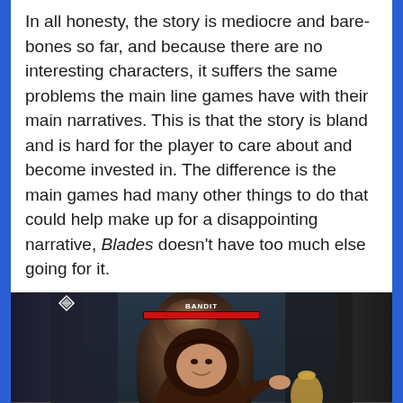In all honesty, the story is mediocre and bare-bones so far, and because there are no interesting characters, it suffers the same problems the main line games have with their main narratives. This is that the story is bland and is hard for the player to care about and become invested in. The difference is the main games had many other things to do that could help make up for a disappointing narrative, Blades doesn't have too much else going for it.
[Figure (screenshot): Screenshot from the video game Elder Scrolls Blades showing a combat scene. A hooded bandit character stands in a dungeon/ruin environment with teal/cyan glow on the floor. HUD elements are visible including a red health bar labeled 'BANDIT' at the top, diamond icons on left and right, shield icon bottom left, and health/stamina bars at the bottom.]